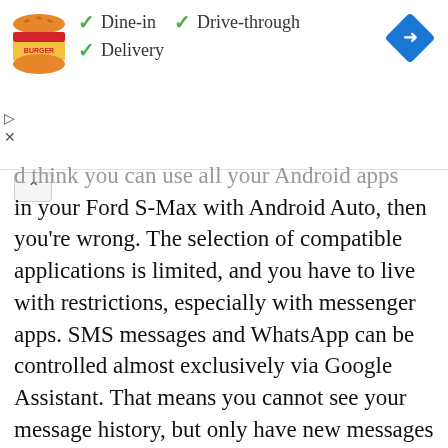[Figure (logo): Burger King logo with orange/red branding, circular emblem]
✓ Dine-in  ✓ Drive-through
✓ Delivery
[Figure (other): Blue diamond-shaped navigation/directions icon with white arrow]
d think you can use all your Android apps in your Ford S-Max with Android Auto, then you're wrong. The selection of compatible applications is limited, and you have to live with restrictions, especially with messenger apps. SMS messages and WhatsApp can be controlled almost exclusively via Google Assistant. That means you cannot see your message history, but only have new messages read out to you or even dictate messages yourself.
The following apps can be used with Android Auto on your S-Max, among others: Phone,